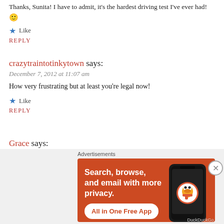Thanks, Sunita! I have to admit, it's the hardest driving test I've ever had! 🙂
★ Like
REPLY
crazytraintotinkytown says:
December 7, 2012 at 11:07 am
How very frustrating but at least you're legal now!
★ Like
REPLY
Grace says:
December 7, 2012 at 6:00 pm
[Figure (screenshot): DuckDuckGo advertisement banner: orange background with text 'Search, browse, and email with more privacy. All in One Free App' and a smartphone showing the DuckDuckGo logo]